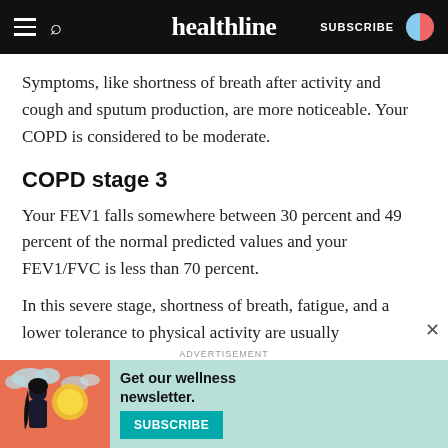healthline
Symptoms, like shortness of breath after activity and cough and sputum production, are more noticeable. Your COPD is considered to be moderate.
COPD stage 3
Your FEV1 falls somewhere between 30 percent and 49 percent of the normal predicted values and your FEV1/FVC is less than 70 percent.
In this severe stage, shortness of breath, fatigue, and a lower tolerance to physical activity are usually
[Figure (illustration): Advertisement banner with illustrated woman, teal background, text 'Get our wellness newsletter.' and a teal SUBSCRIBE button]